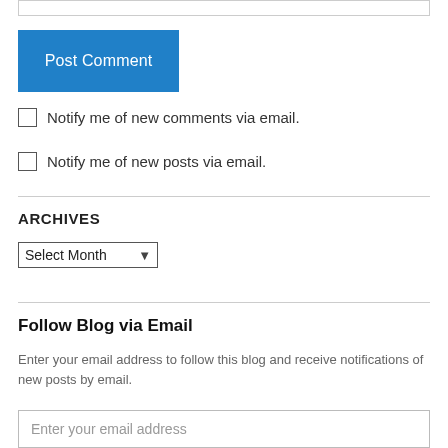[Figure (screenshot): Partial text input bar at the top of the page]
Post Comment
Notify me of new comments via email.
Notify me of new posts via email.
ARCHIVES
Select Month
Follow Blog via Email
Enter your email address to follow this blog and receive notifications of new posts by email.
Enter your email address